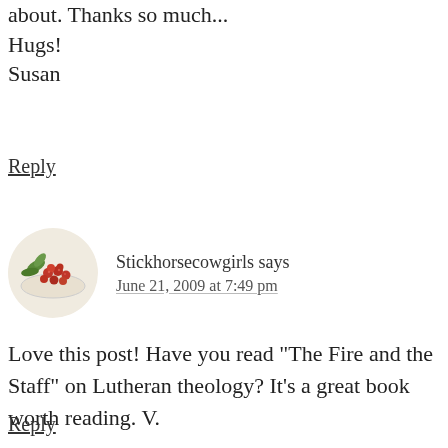about. Thanks so much...
Hugs!
Susan
Reply
Stickhorsecowgirls says
June 21, 2009 at 7:49 pm
Love this post! Have you read "The Fire and the Staff" on Lutheran theology? It's a great book worth reading. V.
Reply